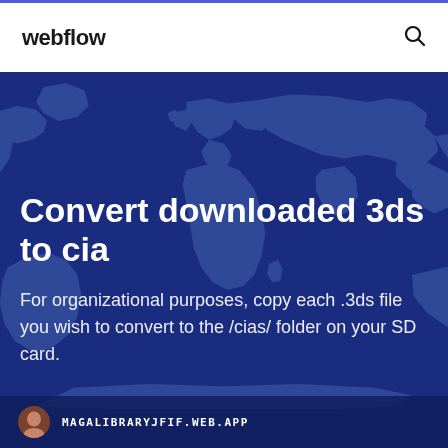webflow
[Figure (illustration): Dark blue hero banner with world map silhouette in the background]
Convert downloaded 3ds to cia
For organizational purposes, copy each .3ds file you wish to convert to the /cias/ folder on your SD card.
MAGALIBRARYJFIF.WEB.APP